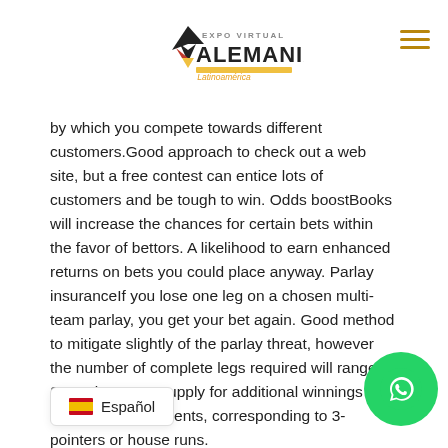Expo Virtual Alemania Latinoamérica
by which you compete towards different customers.Good approach to check out a web site, but a free contest can entice lots of customers and be tough to win. Odds boostBooks will increase the chances for certain bets within the favor of bettors. A likelihood to earn enhanced returns on bets you could place anyway. Parlay insuranceIf you lose one leg on a chosen multi-team parlay, you get your bet again. Good method to mitigate slightly of the parlay threat, however the number of complete legs required will range. Score bonusAn supply for additional winnings for sure recreation events, corresponding to 3-pointers or house runs.
Most football betting apps will now have the option to wager in-play, which is the artwork of putting a wager on a football match after it has began. Odds might be often up to date throughout the game to mirror the state of play and this is probably certainly one of the best current inclusions to the football betting scene. Another spo... b... daily fantasy sports, FanDuel offers re... compared to DraftKings. Through the ...